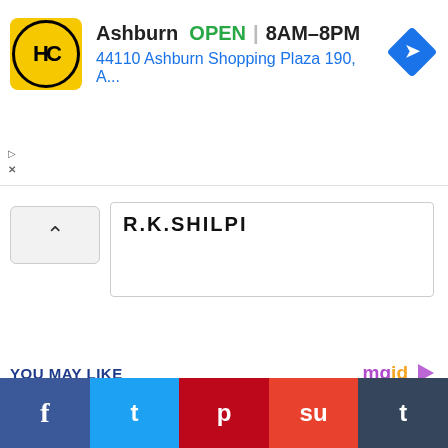[Figure (screenshot): Advertisement banner for HC (Heads or Tails?) showing Ashburn location OPEN 8AM-8PM, address 44110 Ashburn Shopping Plaza 190, A..., with yellow HC logo and blue navigation arrow icon]
R.K.SHILPI
YOU MAY LIKE
[Figure (photo): Young woman with reddish-brown hair sitting on a red couch, smiling, with colorful painting in background]
f  t  p  su  t — social share buttons